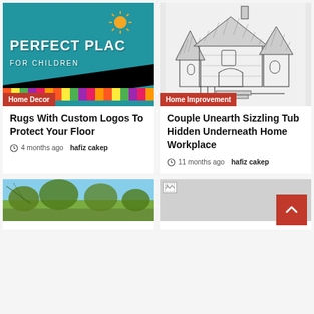[Figure (photo): Close-up photo of a colorful rug with 'PERFECT PLACE FOR CHILDREN' text on a blue background with decorative border]
Home Decor
Rugs With Custom Logos To Protect Your Floor
4 months ago  hafiz cakep
[Figure (illustration): Black and white illustration of a castle-like house with turrets and stone walls]
Home Improvement
Couple Unearth Sizzling Tub Hidden Underneath Home Workplace
11 months ago  hafiz cakep
[Figure (photo): Photo of trees against a sky, partially visible at bottom of page]
[Figure (photo): Broken image placeholder, partially visible at bottom of page]